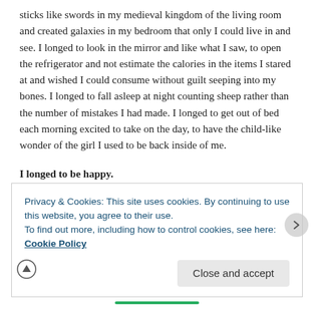sticks like swords in my medieval kingdom of the living room and created galaxies in my bedroom that only I could live in and see. I longed to look in the mirror and like what I saw, to open the refrigerator and not estimate the calories in the items I stared at and wished I could consume without guilt seeping into my bones. I longed to fall asleep at night counting sheep rather than the number of mistakes I had made. I longed to get out of bed each morning excited to take on the day, to have the child-like wonder of the girl I used to be back inside of me.
I longed to be happy.
I went into freshman year of college with a relatively
Privacy & Cookies: This site uses cookies. By continuing to use this website, you agree to their use.
To find out more, including how to control cookies, see here: Cookie Policy